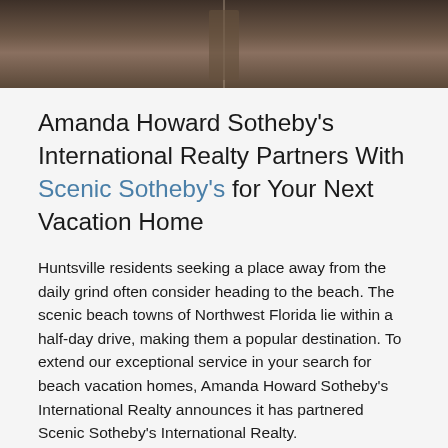[Figure (photo): Top portion of a photo showing what appears to be interior furniture or architectural detail with dark brown tones]
Amanda Howard Sotheby's International Realty Partners With Scenic Sotheby's for Your Next Vacation Home
Huntsville residents seeking a place away from the daily grind often consider heading to the beach. The scenic beach towns of Northwest Florida lie within a half-day drive, making them a popular destination. To extend our exceptional service in your search for beach vacation homes, Amanda Howard Sotheby's International Realty announces it has partnered Scenic Sotheby's International Realty.
Scenic Sotheby's International Realty is the premier real estate firm representing the Emerald Coast from Destin to Panama City Beach. Their unparalleled local knowledge is